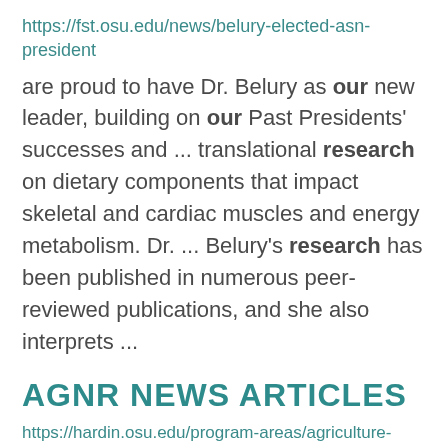https://fst.osu.edu/news/belury-elected-asn-president
are proud to have Dr. Belury as our new leader, building on our Past Presidents' successes and ... translational research on dietary components that impact skeletal and cardiac muscles and energy metabolism. Dr. ... Belury's research has been published in numerous peer-reviewed publications, and she also interprets ...
AGNR NEWS ARTICLES
https://hardin.osu.edu/program-areas/agriculture-and-natural-resources/agnr-news-articles
Legume Stand Evaluation, Winter Wheat...